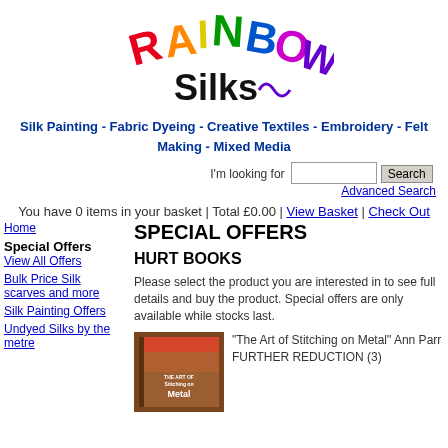[Figure (logo): Rainbow Silks colorful logo with multicolored letters spelling RAINBOW and Silks in black]
Silk Painting - Fabric Dyeing - Creative Textiles - Embroidery - Felt Making - Mixed Media
I'm looking for [search box] Search
Advanced Search
You have 0 items in your basket | Total £0.00 | View Basket | Check Out
Home
Special Offers
View All Offers
Bulk Price Silk scarves and more
Silk Painting Offers
Undyed Silks by the metre
SPECIAL OFFERS
HURT BOOKS
Please select the product you are interested in to see full details and buy the product. Special offers are only available while stocks last.
[Figure (photo): Book cover: The Art of Stitching on Metal]
"The Art of Stitching on Metal" Ann Parr FURTHER REDUCTION (3)